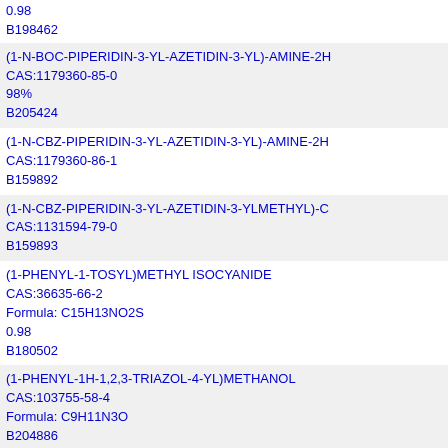0.98
B198462
(1-N-BOC-PIPERIDIN-3-YL-AZETIDIN-3-YL)-AMINE-2H
CAS:1179360-85-0
98%
B205424
(1-N-CBZ-PIPERIDIN-3-YL-AZETIDIN-3-YL)-AMINE-2H
CAS:1179360-86-1
B159892
(1-N-CBZ-PIPERIDIN-3-YL-AZETIDIN-3-YLMETHYL)-C
CAS:1131594-79-0
B159893
(1-PHENYL-1-TOSYL)METHYL ISOCYANIDE
CAS:36635-66-2
Formula: C15H13NO2S
0.98
B180502
(1-PHENYL-1H-1,2,3-TRIAZOL-4-YL)METHANOL
CAS:103755-58-4
Formula: C9H11N3O
B204886
98%
(1-PHENYLCYCLOBUTYL)METHANAMINE
CAS:91245-59-9
B208789
(1-PHENYLCYCLOHEXYL) METHANAMINE
CAS:17380-54-0
B208793
(1-PHENYLCYCLOPENTYL)METHANAMINE